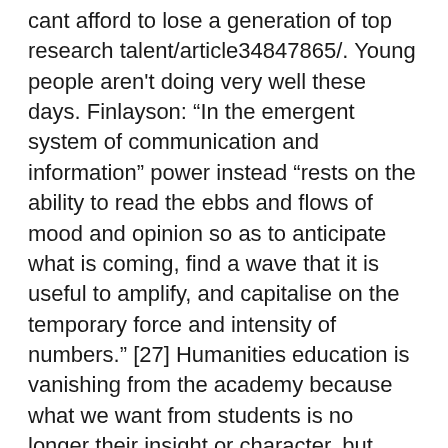cant afford to lose a generation of top research talent/article34847865/. Young people aren't doing very well these days. Finlayson: “In the emergent system of communication and information” power instead “rests on the ability to read the ebbs and flows of mood and opinion so as to anticipate what is coming, find a wave that it is useful to amplify, and capitalise on the temporary force and intensity of numbers.” [27] Humanities education is vanishing from the academy because what we want from students is no longer their insight or character, but merely an electronic footprint of their most immediate and unconsidered desires from which to craft a custom consumer world for them to inhabit. Mental health numbers are off the charts for a generation of kids that has effectively been raised and educated by screens. Regardless of one’s thoughts about education or the direction the university should take, the assumption that a single, corporate-minded CEO